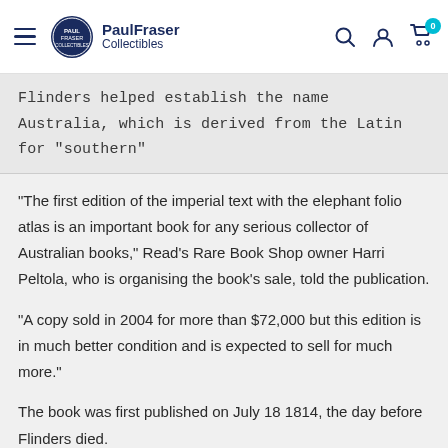PaulFraser Collectibles
Flinders helped establish the name Australia, which is derived from the Latin for "southern"
"The first edition of the imperial text with the elephant folio atlas is an important book for any serious collector of Australian books," Read's Rare Book Shop owner Harri Peltola, who is organising the book's sale, told the publication.
"A copy sold in 2004 for more than $72,000 but this edition is in much better condition and is expected to sell for much more."
The book was first published on July 18 1814, the day before Flinders died.
Tweet